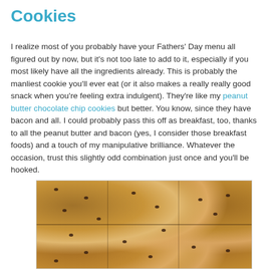Cookies
I realize most of you probably have your Fathers' Day menu all figured out by now, but it's not too late to add to it, especially if you most likely have all the ingredients already. This is probably the manliest cookie you'll ever eat (or it also makes a really really good snack when you're feeling extra indulgent). They're like my peanut butter chocolate chip cookies but better. You know, since they have bacon and all. I could probably pass this off as breakfast, too, thanks to all the peanut butter and bacon (yes, I consider those breakfast foods) and a touch of my manipulative brilliance. Whatever the occasion, trust this slightly odd combination just once and you'll be hooked.
[Figure (photo): A close-up photo of peanut butter chocolate chip cookies with bacon, arranged on a wire cooling rack. The cookies are large, golden-brown, and densely packed.]